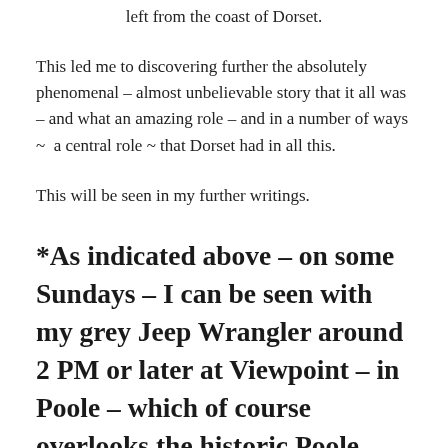left from the coast of Dorset.
This led me to discovering further the absolutely phenomenal – almost unbelievable story that it all was – and what an amazing role – and in a number of ways ~  a central role ~ that Dorset had in all this.
This will be seen in my further writings.
*As indicated above – on some Sundays – I can be seen with my grey Jeep Wrangler around 2 PM or later at Viewpoint – in Poole – which of course overlooks the historic Poole Harbour –